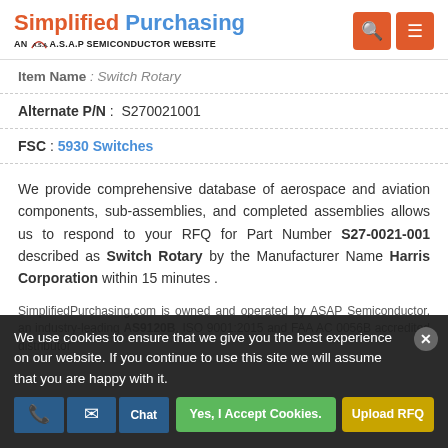Simplified Purchasing – AN A.S.A.P SEMICONDUCTOR WEBSITE
Item Name : Switch Rotary
Alternate P/N : S270021001
FSC : 5930 Switches
We provide comprehensive database of aerospace and aviation components, sub-assemblies, and completed assemblies allows us to respond to your RFQ for Part Number S27-0021-001 described as Switch Rotary by the Manufacturer Name Harris Corporation within 15 minutes .
SimplifiedPurchasing.com is owned and operated by ASAP Semiconductor, an industry-leading AS9120B, ISO 9001:2015 and FAA AC 0056B accredited distributor
We use cookies to ensure that we give you the best experience on our website. If you continue to use this site we will assume that you are happy with it.